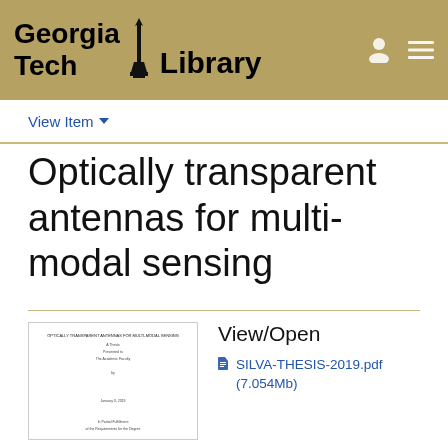[Figure (logo): Georgia Tech Library logo on gold/tan background with torch icon, user icon and hamburger menu icon]
View Item
Optically transparent antennas for multi-modal sensing
[Figure (screenshot): Thumbnail of a document page showing the thesis title and author information]
View/Open
SILVA-THESIS-2019.pdf (7.054Mb)